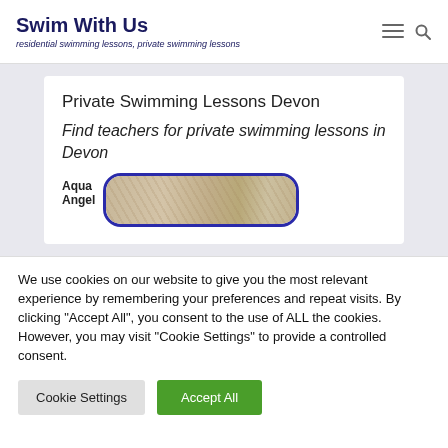Swim With Us — residential swimming lessons, private swimming lessons
Private Swimming Lessons Devon
Find teachers for private swimming lessons in Devon
Aqua Angel
[Figure (photo): Photo of Aqua Angel swimming lesson provider, shown with a blue rounded border]
We use cookies on our website to give you the most relevant experience by remembering your preferences and repeat visits. By clicking "Accept All", you consent to the use of ALL the cookies. However, you may visit "Cookie Settings" to provide a controlled consent.